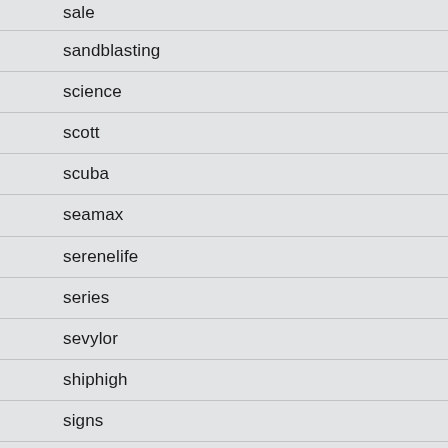sale
sandblasting
science
scott
scuba
seamax
serenelife
series
sevylor
shiphigh
signs
silent